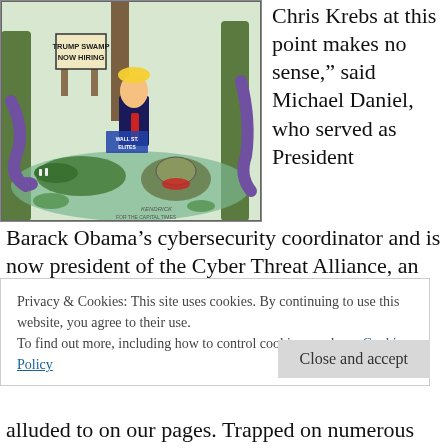[Figure (illustration): Political cartoon showing a 'Trump Swamp Now Hiring' sign in a swamp scene with a Trump-like figure and various swamp creatures including alligators and snakes, labeled 'Wall St. Elites'. Signed by Kendrick for The Capital Times.]
Chris Krebs at this point makes no sense,” said Michael Daniel, who served as President Barack Obama’s cybersecurity coordinator and is now president of the Cyber Threat Alliance, an information-sharing group. “Disrupting CISA’s
Privacy & Cookies: This site uses cookies. By continuing to use this website, you agree to their use.
To find out more, including how to control cookies, see here: Cookie Policy
alluded to on our pages. Trapped on numerous